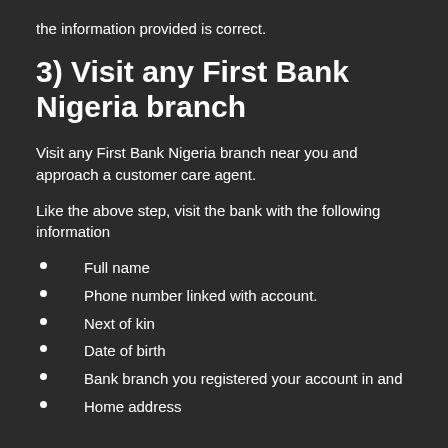the information provided is correct.
3) Visit any First Bank Nigeria branch
Visit any First Bank Nigeria branch near you and approach a customer care agent.
Like the above step, visit the bank with the following information
Full name
Phone number linked with account.
Next of kin
Date of birth
Bank branch you registered your account in and
Home address